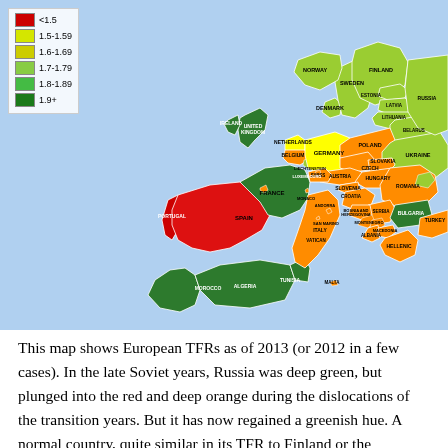[Figure (map): Choropleth map of European TFRs as of 2013 (or 2012 in a few cases). Countries colored by fertility rate ranges: red (<1.5), yellow-green (1.5-1.59), yellow (1.6-1.69), light green (1.7-1.79), medium green (1.8-1.89), dark green (1.9+). Shows countries including Spain, Portugal, France, UK, Ireland, Germany, Poland, Russia, and many others across Europe and North Africa.]
This map shows European TFRs as of 2013 (or 2012 in a few cases). In the late Soviet years, Russia was deep green, but plunged into the red and deep orange during the dislocations of the transition years. But it has now regained a greenish hue. A normal country, quite similar in its TFR to Finland or the Netherlands – countries not particularly known for being in a